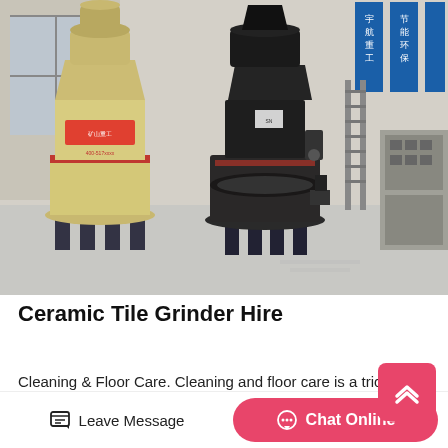[Figure (photo): Industrial grinding machines in a factory warehouse setting. Left machine is cream/yellow colored, right machine is dark gray/black. Factory floor is light gray, brick walls in background with Chinese signage banners.]
Ceramic Tile Grinder Hire
Cleaning & Floor Care. Cleaning and floor care is a tricky job but Kennards Hire's extensive range of floor care and cleaning equipment including industrial size